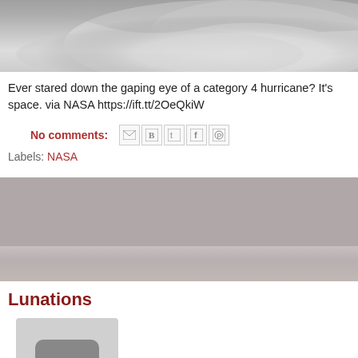[Figure (photo): Satellite image of a hurricane from space, showing swirling clouds and the eye of the storm in grayscale.]
Ever stared down the gaping eye of a category 4 hurricane? It's space. via NASA https://ift.tt/2OeQkiW
No comments:
Labels: NASA
Lunations
[Figure (screenshot): Thumbnail placeholder image with three dots indicating a video or media item.]
Our Moon's appearance changes nightly. As the Moon orbits th illuminated by the Sun first becomes increasingly visible, then o featured video animates images taken by NASA's Moon-orbitin